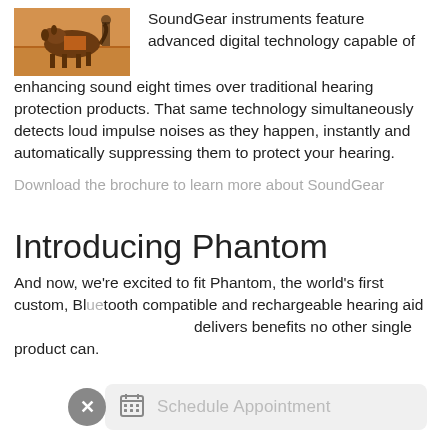[Figure (photo): Photo of a dog in hunting/outdoor scene with orange background]
SoundGear instruments feature advanced digital technology capable of enhancing sound eight times over traditional hearing protection products. That same technology simultaneously detects loud impulse noises as they happen, instantly and automatically suppressing them to protect your hearing.
Download the brochure to learn more about SoundGear
Introducing Phantom
And now, we're excited to fit Phantom, the world's first custom, Bluetooth compatible and rechargeable hearing aid that delivers benefits no other single product can.
[Figure (screenshot): Schedule Appointment UI overlay with close button (x) and calendar icon]